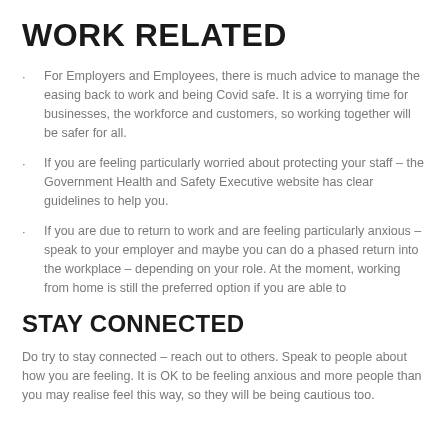WORK RELATED
For Employers and Employees, there is much advice to manage the easing back to work and being Covid safe. It is a worrying time for businesses, the workforce and customers, so working together will be safer for all.
If you are feeling particularly worried about protecting your staff – the Government Health and Safety Executive website has clear guidelines to help you.
If you are due to return to work and are feeling particularly anxious – speak to your employer and maybe you can do a phased return into the workplace – depending on your role. At the moment, working from home is still the preferred option if you are able to
STAY CONNECTED
Do try to stay connected – reach out to others. Speak to people about how you are feeling. It is OK to be feeling anxious and more people than you may realise feel this way, so they will be being cautious too.